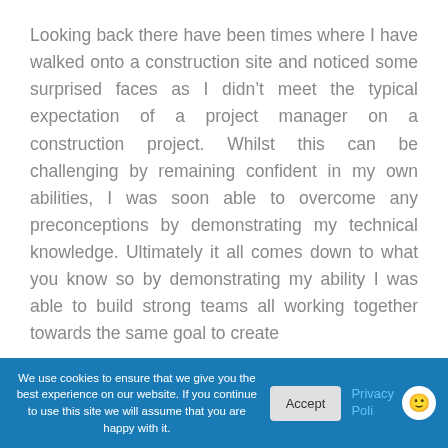Looking back there have been times where I have walked onto a construction site and noticed some surprised faces as I didn't meet the typical expectation of a project manager on a construction project. Whilst this can be challenging by remaining confident in my own abilities, I was soon able to overcome any preconceptions by demonstrating my technical knowledge. Ultimately it all comes down to what you know so by demonstrating my ability I was able to build strong teams all working together towards the same goal to create
We use cookies to ensure that we give you the best experience on our website. If you continue to use this site we will assume that you are happy with it.